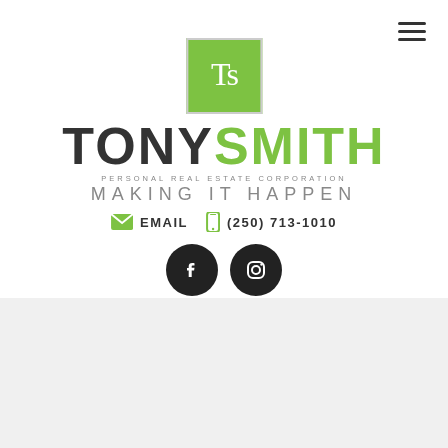[Figure (logo): Tony Smith Personal Real Estate Corporation logo with green TS monogram box, bold TONYSMITH wordmark in dark and green, tagline MAKING IT HAPPEN]
EMAIL  (250) 713-1010
[Figure (illustration): Facebook and Instagram social media icon circles in black]
Sold Properties
[Figure (illustration): Grey rounded square button with upward arrow icon]